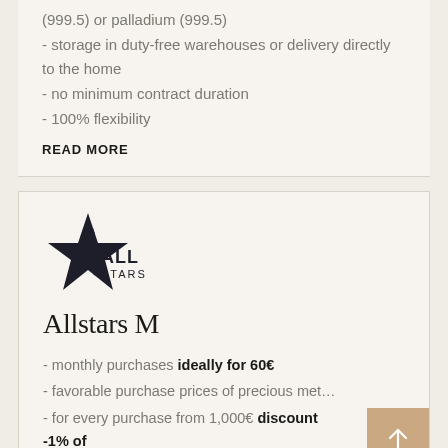(999.5) or palladium (999.5)
- storage in duty-free warehouses or delivery directly to the home
- no minimum contract duration
- 100% flexibility
READ MORE
[Figure (logo): All Stars logo: dark star shape with text ALL STARS]
Allstars M
- monthly purchases ideally for 60€
- favorable purchase prices of precious met…
- for every purchase from 1,000€ discount -1% of